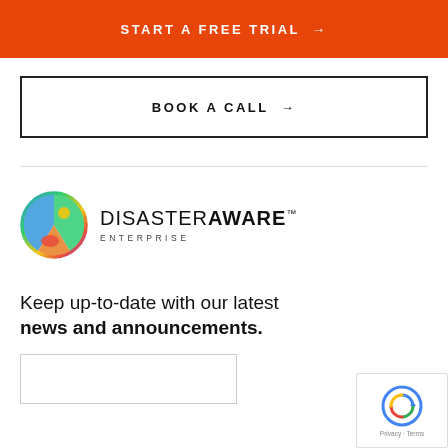START A FREE TRIAL →
BOOK A CALL →
[Figure (logo): DisasterAware Enterprise logo with globe icon]
Keep up-to-date with our latest news and announcements.
[Figure (other): reCAPTCHA badge with Privacy and Terms links]